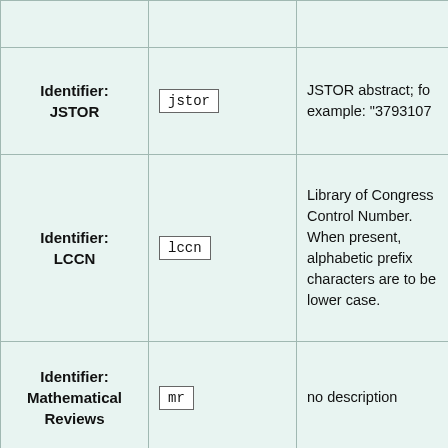| Name | Code | Description |
| --- | --- | --- |
|  |  |  |
| Identifier:
JSTOR | jstor | JSTOR abstract; for example: "3793107 |
| Identifier:
LCCN | lccn | Library of Congress Control Number. When present, alphabetic prefix characters are to be lower case. |
| Identifier:
Mathematical Reviews | mr | no description |
| Identifier:
OCLC | oclc | Online Computer Library Center |